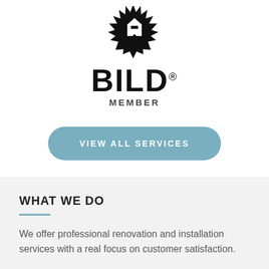[Figure (logo): BILD Member logo: black starburst shape with building/house icon inside, bold text BILD with registered trademark symbol, and MEMBER text below]
VIEW ALL SERVICES
WHAT WE DO
We offer professional renovation and installation services with a real focus on customer satisfaction.